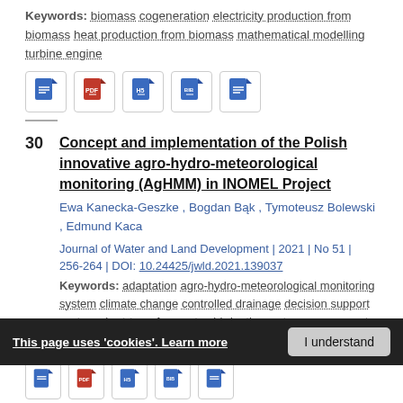Keywords: biomass  cogeneration  electricity production from biomass  heat production from biomass  mathematical modelling  turbine engine
[Figure (other): Row of 5 document icon buttons (blue document, red PDF, blue H5, blue BIB, blue document)]
30   Concept and implementation of the Polish innovative agro-hydro-meteorological monitoring (AgHMM) in INOMEL Project
Ewa Kanecka-Geszke , Bogdan Bąk , Tymoteusz Bolewski , Edmund Kaca
Journal of Water and Land Development | 2021 | No 51 | 256-264 | DOI: 10.24425/jwld.2021.139037
Keywords: adaptation  agro-hydro-meteorological monitoring system  climate change  controlled drainage  decision support system  short-term forecast  subirrigation  water management  water resources
[Figure (other): Cookie consent banner: 'This page uses cookies. Learn more' with 'I understand' button]
[Figure (other): Row of 5 document icon buttons (partially visible at bottom)]